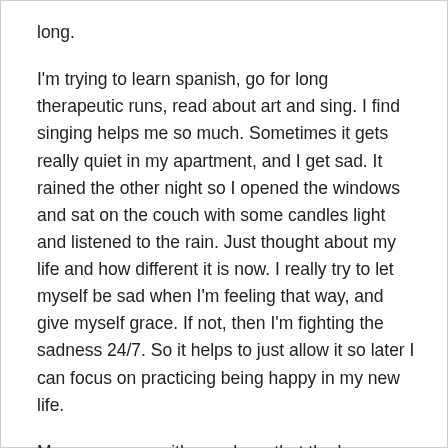long.
I'm trying to learn spanish, go for long therapeutic runs, read about art and sing. I find singing helps me so much. Sometimes it gets really quiet in my apartment, and I get sad. It rained the other night so I opened the windows and sat on the couch with some candles light and listened to the rain. Just thought about my life and how different it is now. I really try to let myself be sad when I'm feeling that way, and give myself grace. If not, then I'm fighting the sadness 24/7. So it helps to just allow it so later I can focus on practicing being happy in my new life.
My prayers are with you dawn that the loan comes through so you can get out of there! Once he doesn't have access to you, it will feel so empowering! It drove